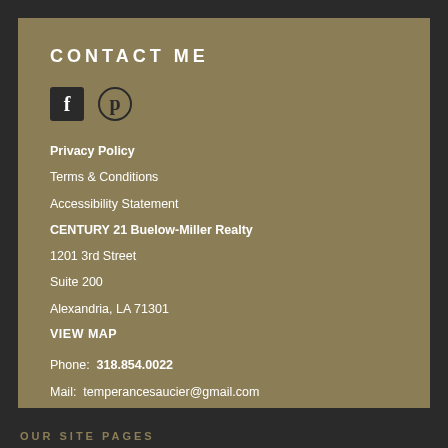CONTACT ME
[Figure (other): Social media icons: Facebook (black square with F) and Pinterest (circle with P logo)]
Privacy Policy
Terms & Conditions
Accessibility Statement
CENTURY 21 Buelow-Miller Realty
1201 3rd Street
Suite 200
Alexandria, LA 71301
VIEW MAP
Phone: 318.854.0022
Mail: temperancesaucier@gmail.com
OUR SITE PAGES